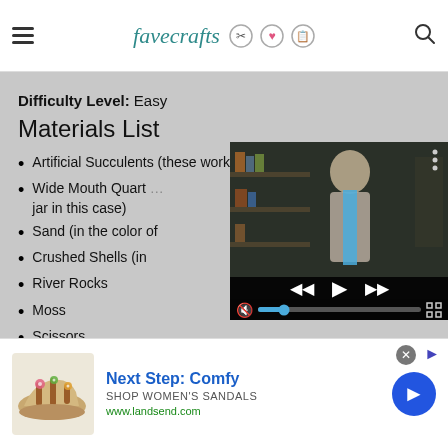favecrafts
Difficulty Level: Easy
Materials List
Artificial Succulents (these work great for this project!)
Wide Mouth Quart jar in this case)
Sand (in the color of
Crushed Shells (in
River Rocks
Moss
Scissors
[Figure (screenshot): Embedded video player showing a woman in front of a bookshelf, with playback controls including skip back, play, skip forward, mute, progress bar, and fullscreen button.]
[Figure (photo): Advertisement banner showing a colorful sandal shoe. Text: Next Step: Comfy, SHOP WOMEN'S SANDALS, www.landsend.com with a blue arrow button.]